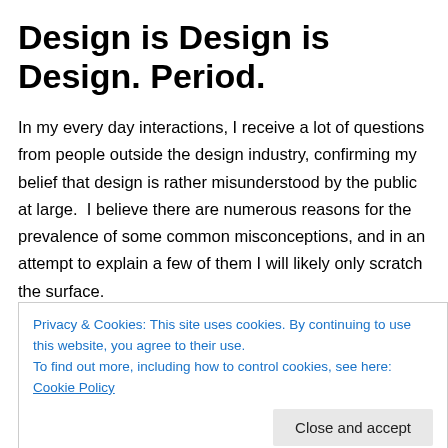Design is Design is Design. Period.
In my every day interactions, I receive a lot of questions from people outside the design industry, confirming my belief that design is rather misunderstood by the public at large.  I believe there are numerous reasons for the prevalence of some common misconceptions, and in an attempt to explain a few of them I will likely only scratch the surface.
Privacy & Cookies: This site uses cookies. By continuing to use this website, you agree to their use.
To find out more, including how to control cookies, see here: Cookie Policy
graphics, web, industrial, interiors, architecture, fashion